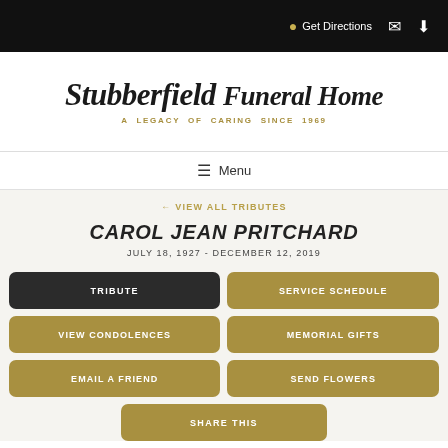Get Directions
[Figure (logo): Stubberfield Funeral Home logo with italic serif font and tagline 'A LEGACY OF CARING SINCE 1969']
Menu
← VIEW ALL TRIBUTES
CAROL JEAN PRITCHARD
JULY 18, 1927 - DECEMBER 12, 2019
TRIBUTE
SERVICE SCHEDULE
VIEW CONDOLENCES
MEMORIAL GIFTS
EMAIL A FRIEND
SEND FLOWERS
SHARE THIS